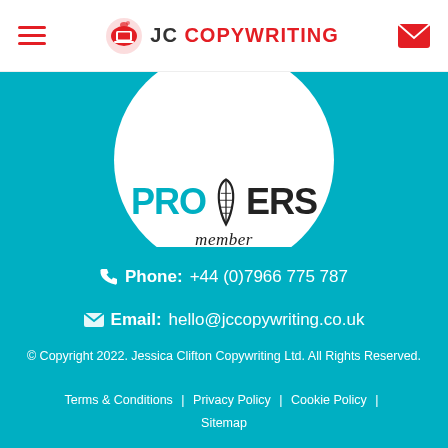JC COPYWRITING — navigation header with hamburger menu and email icon
[Figure (logo): ProCopywriters member badge — circular white badge with 'PRO', feather/pen icon, 'ERS', and 'member' text]
Phone: +44 (0)7966 775 787
Email: hello@jccopywriting.co.uk
© Copyright 2022. Jessica Clifton Copywriting Ltd. All Rights Reserved.
Terms & Conditions | Privacy Policy | Cookie Policy | Sitemap